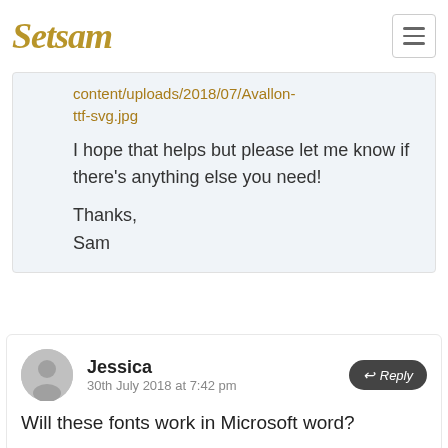[Figure (logo): Setsam logo in gold italic script]
content/uploads/2018/07/Avallon-ttf-svg.jpg
I hope that helps but please let me know if there’s anything else you need!

Thanks,
Sam
Jessica
30th July 2018 at 7:42 pm
Will these fonts work in Microsoft word?